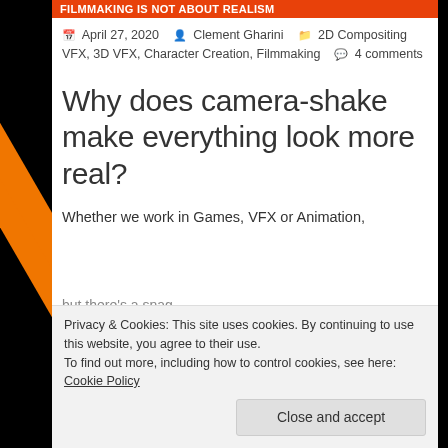FILMMAKING IS NOT ABOUT REALISM
April 27, 2020  Clement Gharini  2D Compositing VFX, 3D VFX, Character Creation, Filmmaking  4 comments
Why does camera-shake make everything look more real?
Whether we work in Games, VFX or Animation,
but there's a snag...
Privacy & Cookies: This site uses cookies. By continuing to use this website, you agree to their use.
To find out more, including how to control cookies, see here: Cookie Policy